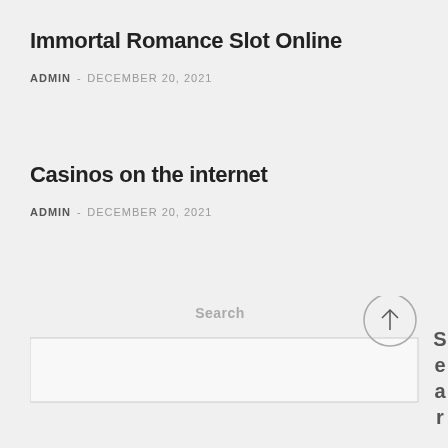Immortal Romance Slot Online
ADMIN - DECEMBER 20, 2021
Casinos on the internet
ADMIN - DECEMBER 20, 2021
[Figure (other): Search input box with a scroll-to-top circular arrow button and vertical 'Search' text label]
Search